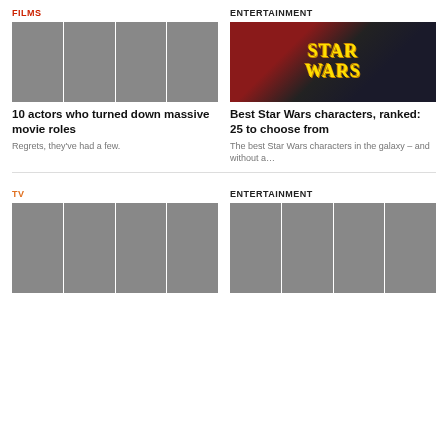FILMS
[Figure (photo): Strip of four movie still photos showing actors]
10 actors who turned down massive movie roles
Regrets, they've had a few.
ENTERTAINMENT
[Figure (photo): Star Wars collage with yellow STAR WARS logo text, Princess Leia, Yoda, and lightsaber scene]
Best Star Wars characters, ranked: 25 to choose from
The best Star Wars characters in the galaxy – and without a…
TV
[Figure (photo): Strip of four TV show character photos]
ENTERTAINMENT
[Figure (photo): Strip of four entertainment photos]